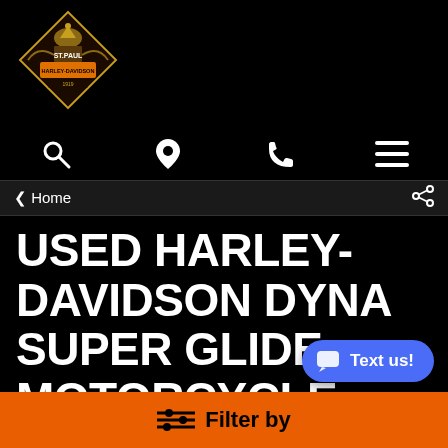[Figure (logo): St. Paul Harley-Davidson dealership logo with capitol building and eagle motif]
[Figure (infographic): Navigation icons row: search (magnifying glass), location pin, phone, and hamburger menu]
< Home
USED HARLEY-DAVIDSON DYNA SUPER GLIDE MOTORCYCLE FOR SALE NEAR EAU CLAIRE, WISCONSIN.
Text us!
Filter by